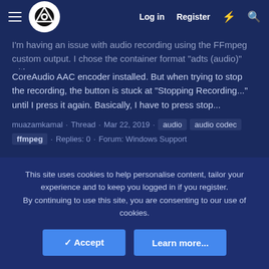OBS Forum navigation bar with Log in, Register links
I'm having an issue with audio recording using the FFmpeg custom output. I chose the container format "adts (audio)" with CoreAudio AAC encoder installed. But when trying to stop the recording, the button is stuck at "Stopping Recording..." until I press it again. Basically, I have to press stop...
muazamkamal · Thread · Mar 22, 2019 · audio  audio codec  ffmpeg · Replies: 0 · Forum: Windows Support
Question / Help  No GPU utilization when using nvenc. High cpu usage
This site uses cookies to help personalise content, tailor your experience and to keep you logged in if you register.
By continuing to use this site, you are consenting to our use of cookies.